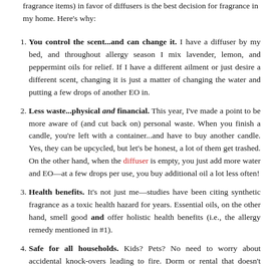fragrance items) in favor of diffusers is the best decision for fragrance in my home. Here's why:
You control the scent...and can change it. I have a diffuser by my bed, and throughout allergy season I mix lavender, lemon, and peppermint oils for relief. If I have a different ailment or just desire a different scent, changing it is just a matter of changing the water and putting a few drops of another EO in.
Less waste...physical and financial. This year, I've made a point to be more aware of (and cut back on) personal waste. When you finish a candle, you're left with a container...and have to buy another candle. Yes, they can be upcycled, but let's be honest, a lot of them get trashed. On the other hand, when the diffuser is empty, you just add more water and EO—at a few drops per use, you buy additional oil a lot less often!
Health benefits. It's not just me—studies have been citing synthetic fragrance as a toxic health hazard for years. Essential oils, on the other hand, smell good and offer holistic health benefits (i.e., the allergy remedy mentioned in #1).
Safe for all households. Kids? Pets? No need to worry about accidental knock-overs leading to fire. Dorm or rental that doesn't allow candles? No problem. You have the fragrance...